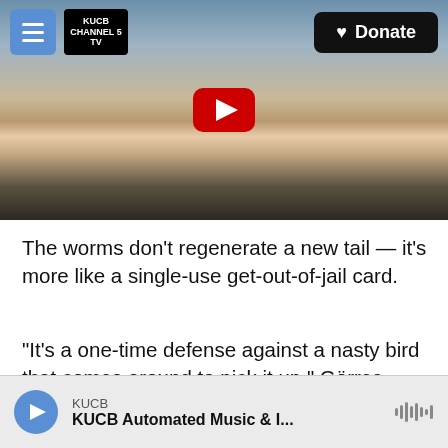[Figure (screenshot): Website screenshot showing KUCB news article page with navigation bar (hamburger menu, KUCB Channel 5 TV logo, Donate button), a video thumbnail of a worm/pink animal creature, article text about worms not regenerating tails, and an audio player bar at the bottom for KUCB Automated Music & I...]
The worms don't regenerate a new tail — it's more like a single-use get-out-of-jail card.
"It's a one-time defense against a nasty bird that comes around to pick it up," Görres says. "It splits. The live part of the worm actually sort of slithers away, and the tail keeps thrashing about. So it is basically saying, 'Here I am, you pick me up, I'm the
KUCB
KUCB Automated Music & I...